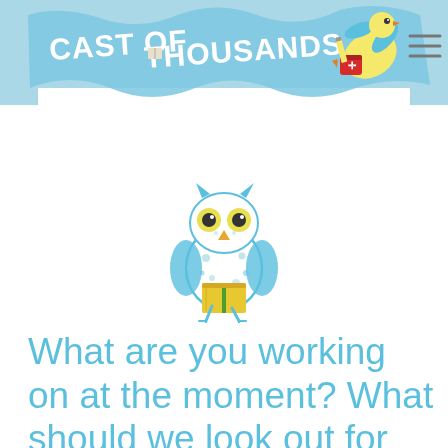[Figure (logo): Cast of Thousands logo: wavy blue banner with hand-lettered text 'CAST OF THOUSANDS' and an illustrated bird carrying a red bag with a yellow pencil]
[Figure (illustration): A blue and white illustrated owl holding a yellow book, with yellow eyes and small legs, in a hand-drawn style]
What are you working on at the moment? What should we look out for next?